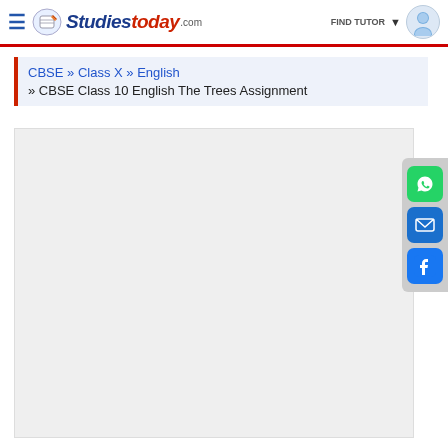StudiesToday.com
CBSE » Class X » English
» CBSE Class 10 English The Trees Assignment
[Figure (screenshot): Grey content box placeholder for embedded content or advertisement]
[Figure (infographic): Social share sidebar with WhatsApp (green), Email (blue), and Facebook (blue) buttons]